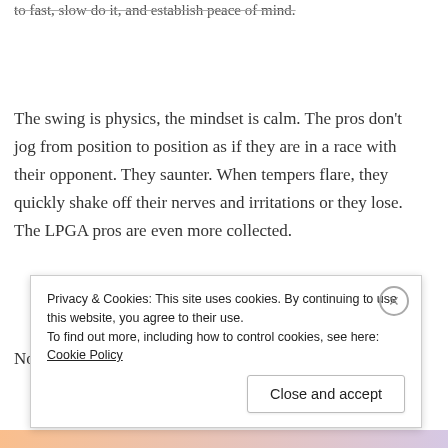to fast, slow do it, and establish peace of mind.
The swing is physics, the mindset is calm. The pros don't jog from position to position as if they are in a race with their opponent. They saunter. When tempers flare, they quickly shake off their nerves and irritations or they lose. The LPGA pros are even more collected.
No more racing, no more ranting, no more unwelcome
Privacy & Cookies: This site uses cookies. By continuing to use this website, you agree to their use.
To find out more, including how to control cookies, see here: Cookie Policy
Close and accept